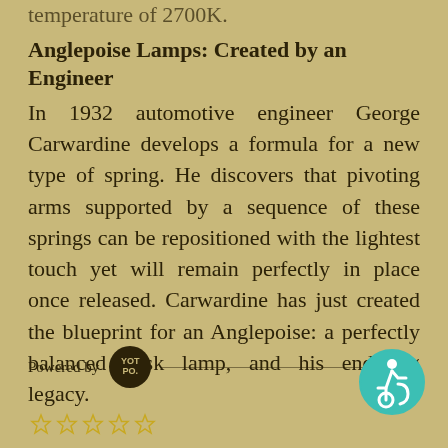temperature of 2700K.
Anglepoise Lamps: Created by an Engineer
In 1932 automotive engineer George Carwardine develops a formula for a new type of spring. He discovers that pivoting arms supported by a sequence of these springs can be repositioned with the lightest touch yet will remain perfectly in place once released. Carwardine has just created the blueprint for an Anglepoise: a perfectly balanced desk lamp, and his enduring legacy.
[Figure (logo): Yotpo powered by badge - dark circular logo with YOT PO. text in gold color]
[Figure (illustration): Accessibility icon - teal circle with white figure using wheelchair symbol]
[Figure (other): Five star rating icons in gold/yellow color]